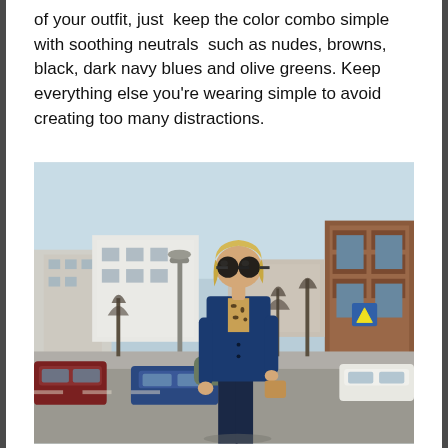of your outfit, just keep the color combo simple with soothing neutrals such as nudes, browns, black, dark navy blues and olive greens. Keep everything else you're wearing simple to avoid creating too many distractions.
[Figure (photo): A blonde woman wearing large round sunglasses, a navy blue blazer over a leopard print blouse, and dark trousers, walking on a street sidewalk with cars, trees, buildings and a street lamp visible in the background. The setting appears to be a European town on an overcast day.]